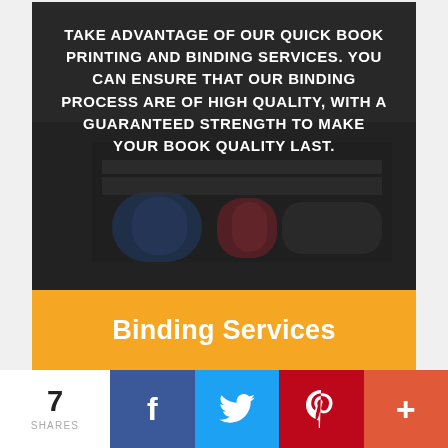[Figure (photo): Photo of book binding spines (blue and red) with a dark overlay, showing binding machine equipment]
TAKE ADVANTAGE OF OUR QUICK BOOK PRINTING AND BINDING SERVICES. YOU CAN ENSURE THAT OUR BINDING PROCESS ARE OF HIGH QUALITY, WITH A GUARANTEED STRENGTH TO MAKE YOUR BOOK QUALITY LAST.
Binding Services
[Figure (photo): Photo of a printing/booklet machine with dark overlay]
MAKE YOUR BOOKLET STAND OUT FROM THE REST. TAKE ADVANTAGE OF OUR HIGH-QUALITY, FULL COLOR BOOKLET PRINTING SERVICES. WE
7 SHARES — Facebook, Twitter, Pinterest, More